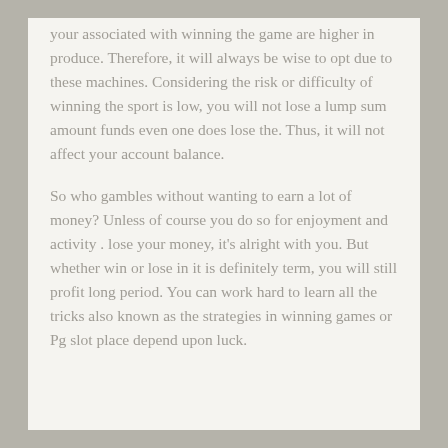your associated with winning the game are higher in produce. Therefore, it will always be wise to opt due to these machines. Considering the risk or difficulty of winning the sport is low, you will not lose a lump sum amount funds even one does lose the. Thus, it will not affect your account balance.
So who gambles without wanting to earn a lot of money? Unless of course you do so for enjoyment and activity . lose your money, it's alright with you. But whether win or lose in it is definitely term, you will still profit long period. You can work hard to learn all the tricks also known as the strategies in winning games or Pg slot place depend upon luck.